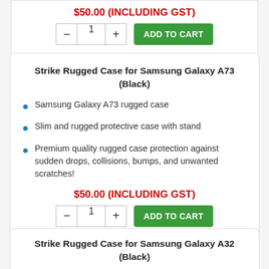$50.00 (INCLUDING GST)
- 1 + ADD TO CART
Strike Rugged Case for Samsung Galaxy A73 (Black)
Samsung Galaxy A73 rugged case
Slim and rugged protective case with stand
Premium quality rugged case protection against sudden drops, collisions, bumps, and unwanted scratches!
$50.00 (INCLUDING GST)
- 1 + ADD TO CART
Strike Rugged Case for Samsung Galaxy A32 (Black)
Samsung Galaxy A32 rugged case